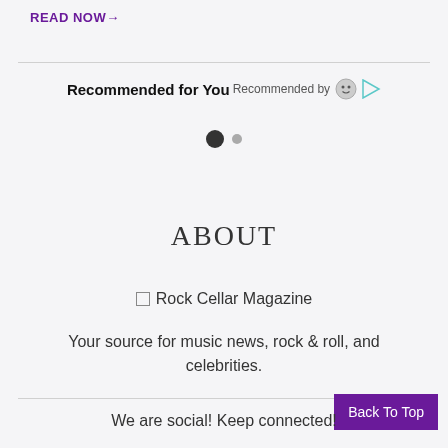READ NOW→
Recommended for You  Recommended by
[Figure (other): Two navigation dots: one large filled dark circle and one smaller grey dot, indicating a carousel position indicator]
ABOUT
[Figure (logo): Rock Cellar Magazine logo placeholder image with broken image icon]
Your source for music news, rock & roll, and celebrities.
Back To Top
We are social! Keep connected!